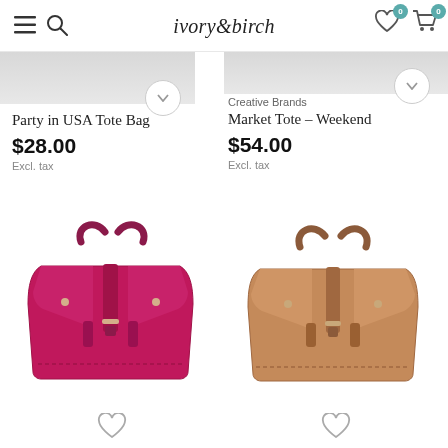ivory & birch — navigation header with hamburger menu, search, wishlist (0), cart (0)
Party in USA Tote Bag
$28.00
Excl. tax
Creative Brands
Market Tote – Weekend
$54.00
Excl. tax
[Figure (photo): Magenta/pink leather tote bag with double handles and center buckle strap detail]
[Figure (photo): Tan/cognac leather tote bag with double handles and center buckle strap detail]